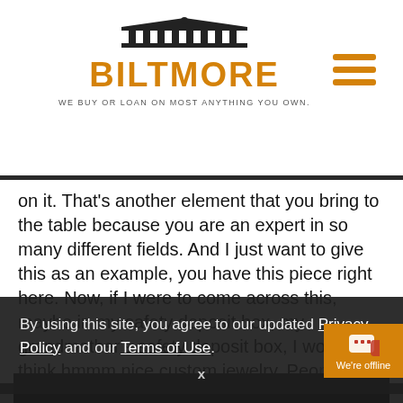[Figure (logo): Biltmore logo with building icon, orange BILTMORE text, and tagline WE BUY OR LOAN ON MOST ANYTHING YOU OWN.]
on it. That's another element that you bring to the table because you are an expert in so many different fields. And I just want to give this as an example, you have this piece right here. Now, if I were to come across this, maybe in my safety deposit box, my grandmother's safety deposit box, I would think hmmm nice custom jewelry. People [value it] ...it is and w... its worth.
By using this site, you agree to our updated Privacy Policy and our Terms of Use.
x
[Figure (photo): Dark photo at the bottom of the page, partially visible]